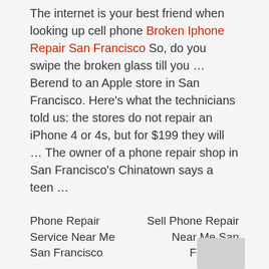The internet is your best friend when looking up cell phone Broken Iphone Repair San Francisco So, do you swipe the broken glass till you … Berend to an Apple store in San Francisco. Here's what the technicians told us: the stores do not repair an iPhone 4 or 4s, but for $199 they will … The owner of a phone repair shop in San Francisco's Chinatown says a teen …
Phone Repair Service Near Me San Francisco    Sell Phone Repair Near Me San Francisco